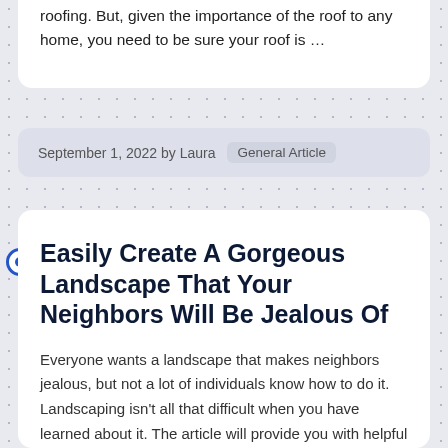roofing. But, given the importance of the roof to any home, you need to be sure your roof is …
September 1, 2022 by Laura  General Article
Easily Create A Gorgeous Landscape That Your Neighbors Will Be Jealous Of
Everyone wants a landscape that makes neighbors jealous, but not a lot of individuals know how to do it. Landscaping isn't all that difficult when you have learned about it. The article will provide you with helpful ideas on how …